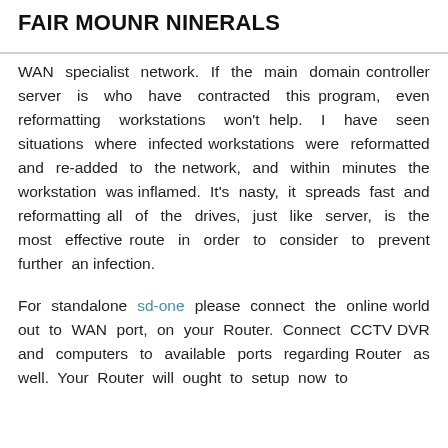FAIR MOUNR NINERALS
WAN specialist network. If the main domain controller server is who have contracted this program, even reformatting workstations won't help. I have seen situations where infected workstations were reformatted and re-added to the network, and within minutes the workstation was inflamed. It's nasty, it spreads fast and reformatting all of the drives, just like server, is the most effective route in order to consider to prevent further an infection.
For standalone sd-one please connect the online world out to WAN port, on your Router. Connect CCTV DVR and computers to available ports regarding Router as well. Your Router will ought to setup now to